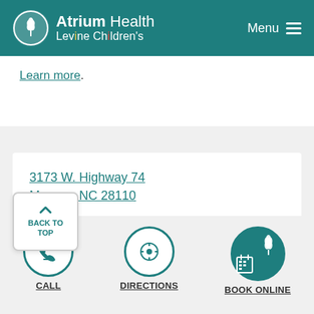Atrium Health Levine Children's | Menu
Learn more.
3173 W. Highway 74
Monroe, NC 28110
Distance: 25.51 miles
Phone: 704-283-2000
Fax: 704-225-0885
BACK TO TOP
CALL
DIRECTIONS
BOOK ONLINE